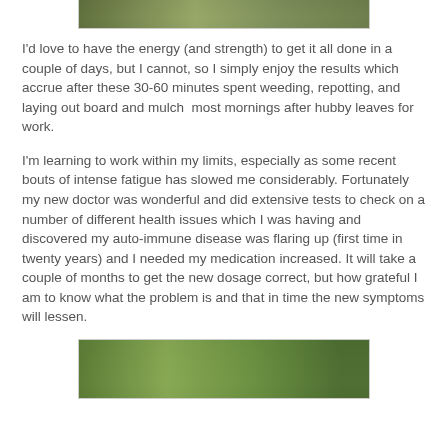[Figure (photo): Partial view of a garden or outdoor scene, cropped at top of page]
I'd love to have the energy (and strength) to get it all done in a couple of days, but I cannot, so I simply enjoy the results which accrue after these 30-60 minutes spent weeding, repotting, and laying out board and mulch  most mornings after hubby leaves for work.
I'm learning to work within my limits, especially as some recent bouts of intense fatigue has slowed me considerably. Fortunately my new doctor was wonderful and did extensive tests to check on a number of different health issues which I was having and discovered my auto-immune disease was flaring up (first time in twenty years) and I needed my medication increased. It will take a couple of months to get the new dosage correct, but how grateful I am to know what the problem is and that in time the new symptoms will lessen.
[Figure (photo): Garden plants with green leafy foliage, partial view at bottom of page]